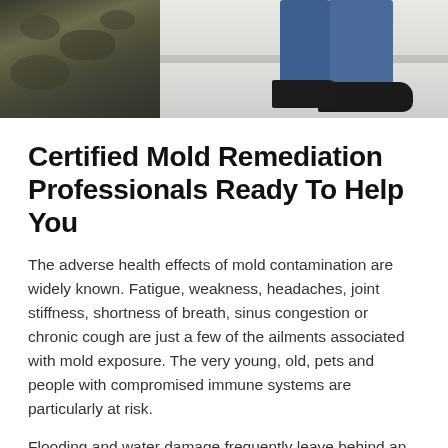[Figure (photo): Photo of a person standing near a mold-covered wall, showing legs in jeans and black shoes on a light tile floor. Black mold growth is visible on the left wall.]
Certified Mold Remediation Professionals Ready To Help You
The adverse health effects of mold contamination are widely known. Fatigue, weakness, headaches, joint stiffness, shortness of breath, sinus congestion or chronic cough are just a few of the ailments associated with mold exposure. The very young, old, pets and people with compromised immune systems are particularly at risk.
Flooding and water damage frequently leave behind an environment that is ideal for mold